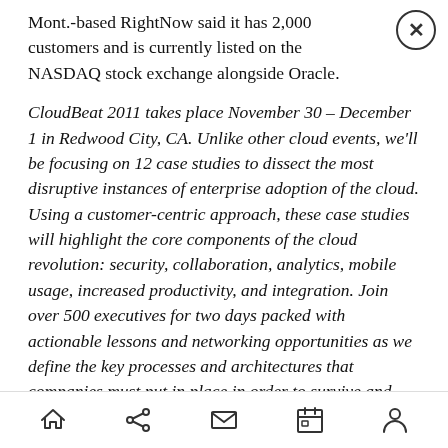Mont.-based RightNow said it has 2,000 customers and is currently listed on the NASDAQ stock exchange alongside Oracle.
CloudBeat 2011 takes place November 30 – December 1 in Redwood City, CA. Unlike other cloud events, we'll be focusing on 12 case studies to dissect the most disruptive instances of enterprise adoption of the cloud. Using a customer-centric approach, these case studies will highlight the core components of the cloud revolution: security, collaboration, analytics, mobile usage, increased productivity, and integration. Join over 500 executives for two days packed with actionable lessons and networking opportunities as we define the key processes and architectures that companies must put in place in order to survive and